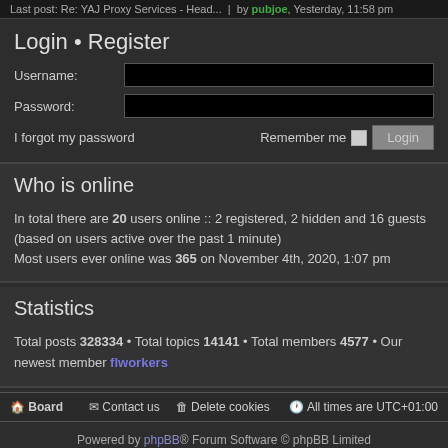Last post: Re: YAJ Proxy Services - Head... | by pubjoe, Yesterday, 11:58 pm
Login • Register
Username:
Password:
I forgot my password   Remember me  Login
Who is online
In total there are 20 users online :: 2 registered, 2 hidden and 16 guests (based on users active over the past 1 minute)
Most users ever online was 365 on November 4th, 2020, 1:07 pm
Statistics
Total posts 328334 • Total topics 14141 • Total members 4577 • Our newest member flworkers
Board  Contact us  Delete cookies  All times are UTC+01:00
Powered by phpBB® Forum Software © phpBB Limited
Style by Arty - phpBB 3.3 by MrGaby
Privacy | Terms